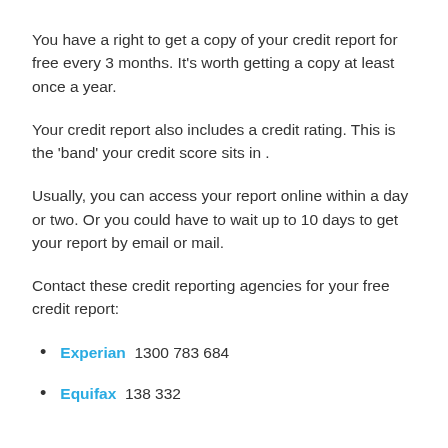You have a right to get a copy of your credit report for free every 3 months. It's worth getting a copy at least once a year.
Your credit report also includes a credit rating. This is the 'band' your credit score sits in .
Usually, you can access your report online within a day or two. Or you could have to wait up to 10 days to get your report by email or mail.
Contact these credit reporting agencies for your free credit report:
Experian  1300 783 684
Equifax  138 332